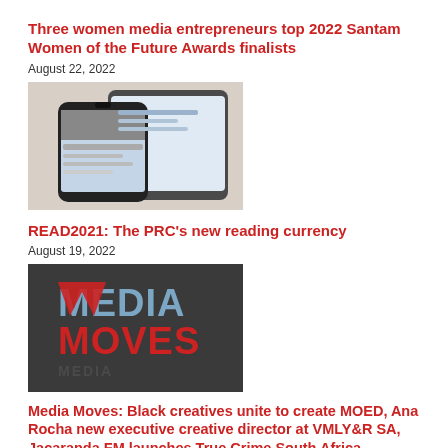Three women media entrepreneurs top 2022 Santam Women of the Future Awards finalists
August 22, 2022
[Figure (photo): A smartphone and tablet displaying a news/social media app, placed on a white surface.]
READ2021: The PRC's new reading currency
August 19, 2022
[Figure (logo): Media Moves logo on a dark background with 3D red and grey lettering.]
Media Moves: Black creatives unite to create MOED, Ana Rocha new executive creative director at VMLY&R SA, Jacaranda FM launches True Crime South Africa podcast